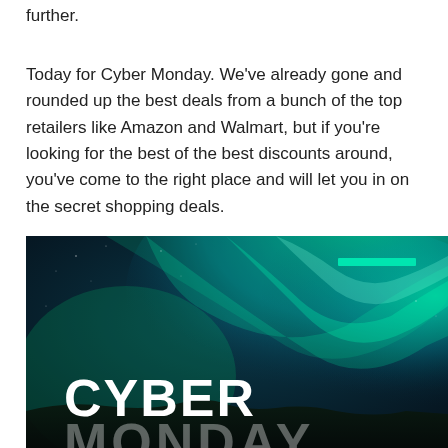further.
Today for Cyber Monday. We've already gone and rounded up the best deals from a bunch of the top retailers like Amazon and Walmart, but if you're looking for the best of the best discounts around, you've come to the right place and will let you in on the secret shopping deals.
[Figure (photo): Aurora borealis / northern lights image with the text 'CYBER MONDAY' overlaid in large bold white letters, and a teal/green horizontal bar accent in the upper right corner.]